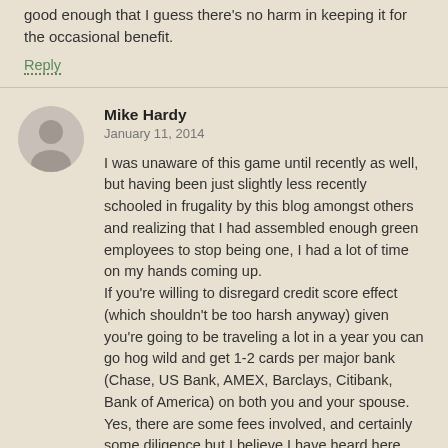good enough that I guess there's no harm in keeping it for the occasional benefit.
Reply
Mike Hardy
January 11, 2014
I was unaware of this game until recently as well, but having been just slightly less recently schooled in frugality by this blog amongst others and realizing that I had assembled enough green employees to stop being one, I had a lot of time on my hands coming up.
If you're willing to disregard credit score effect (which shouldn't be too harsh anyway) given you're going to be traveling a lot in a year you can go hog wild and get 1-2 cards per major bank (Chase, US Bank, AMEX, Barclays, Citibank, Bank of America) on both you and your spouse. Yes, there are some fees involved, and certainly some diligence but I believe I have heard here that there are great benefits if you can tolerate some discomfort ;-).
With the input of approximately 40 hours of work, and channeling a bit of the spend from the job I won't have much longer, I believe I've incurred a total cost (including opportunity cost of $1,337 for a total value of $12,167...